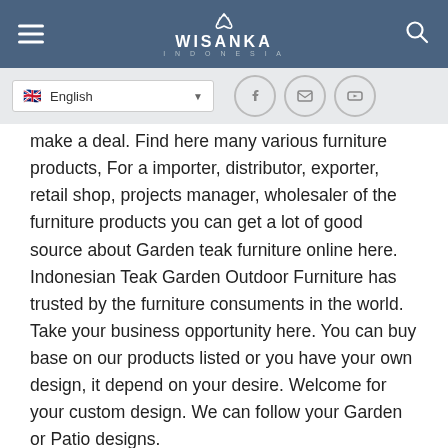[Figure (screenshot): Wisanka Indonesia website navigation bar with hamburger menu, Wisanka logo, and search icon on dark blue background]
[Figure (screenshot): Website secondary navigation bar with English language selector and social media icons (Facebook, email, YouTube)]
make a deal. Find here many various furniture products, For a importer, distributor, exporter, retail shop, projects manager, wholesaler of the furniture products you can get a lot of good source about Garden teak furniture online here. Indonesian Teak Garden Outdoor Furniture has trusted by the furniture consuments in the world. Take your business opportunity here. You can buy base on our products listed or you have your own design, it depend on your desire. Welcome for your custom design. We can follow your Garden or Patio designs.
Related
Ananconda Sunbed
Paris Sunbed without wheels